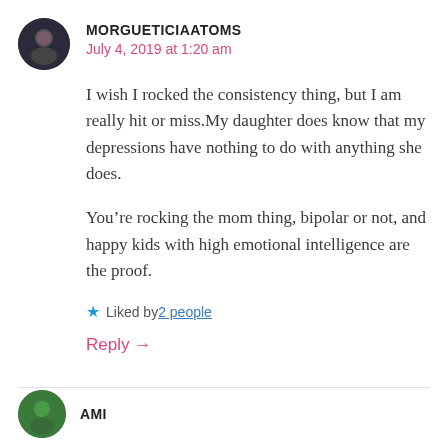MORGUETICIAATOMS
July 4, 2019 at 1:20 am
I wish I rocked the consistency thing, but I am really hit or miss.My daughter does know that my depressions have nothing to do with anything she does.
You’re rocking the mom thing, bipolar or not, and happy kids with high emotional intelligence are the proof.
Liked by 2 people
Reply →
AMI